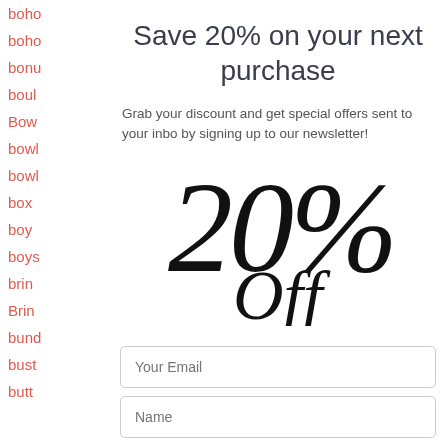boho
boho
bonu
boul
Bow
bowl
bowl
box
boy
boys
brin
Brin
bund
bust
butt
Save 20% on your next purchase
Grab your discount and get special offers sent to your inbox by signing up to our newsletter!
[Figure (other): Large decorative text showing '20% Off' in italic serif font]
Your Email
Name